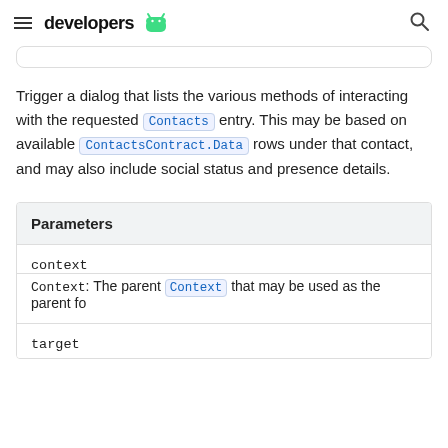developers
Trigger a dialog that lists the various methods of interacting with the requested Contacts entry. This may be based on available ContactsContract.Data rows under that contact, and may also include social status and presence details.
| Parameters |
| --- |
| context | Context: The parent Context that may be used as the parent fo |
| target |  |
target